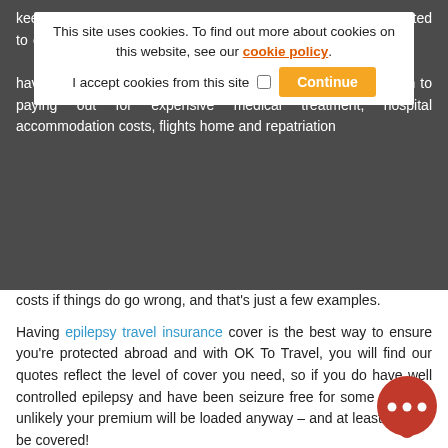keep their costs low as they don't often cover potential risks related to epilepsy or other serious medical conditions. You may feel that your epilepsy is well controlled and therefore you don't need to have travel insurance, but if you don't, you leave yourself open to paying out for expensive medical treatment, hospital accommodation costs, flights home and repatriation costs if things do go wrong, and that's just a few examples.
This site uses cookies. To find out more about cookies on this website, see our cookie policy. I accept cookies from this site [checkbox] Continue
costs if things do go wrong, and that's just a few examples.
Having epilepsy travel insurance cover is the best way to ensure you're protected abroad and with OK To Travel, you will find our quotes reflect the level of cover you need, so if you do have well controlled epilepsy and have been seizure free for some time, it's unlikely your premium will be loaded anyway – and at least you will be covered!
What Our Travel Insurance For Epilepsy Covers
We offer a great range of benefits for people with epilepsy. In fact, we can provide different levels of insurance so you don't have to pay out for the cover you really need.